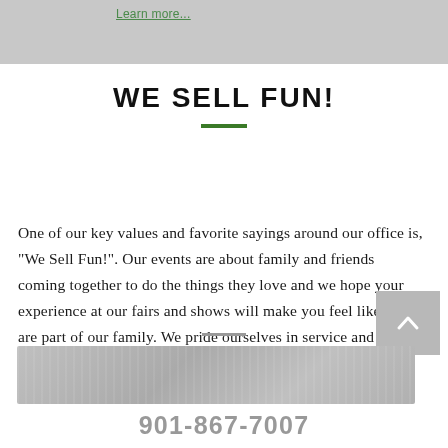Learn more...
WE SELL FUN!
One of our key values and favorite sayings around our office is, "We Sell Fun!". Our events are about family and friends coming together to do the things they love and we hope your experience at our fairs and shows will make you feel like you are part of our family. We pride ourselves in service and strive to meet the needs of each person who attends our shows.
901-867-7007